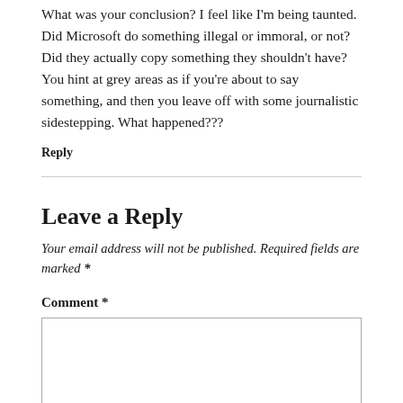What was your conclusion? I feel like I'm being taunted. Did Microsoft do something illegal or immoral, or not? Did they actually copy something they shouldn't have? You hint at grey areas as if you're about to say something, and then you leave off with some journalistic sidestepping. What happened???
Reply
Leave a Reply
Your email address will not be published. Required fields are marked *
Comment *